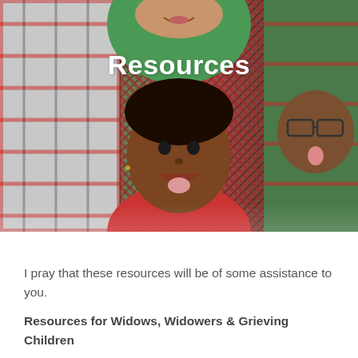[Figure (photo): Group photo of three children smiling and making funny faces, lying down together. One child is in the center making a funny face sticking out tongue, wearing a red top. Another on the left in a plaid shirt, and one on the right wearing glasses and a green shirt.]
Resources
I pray that these resources will be of some assistance to you.
Resources for Widows, Widowers & Grieving Children